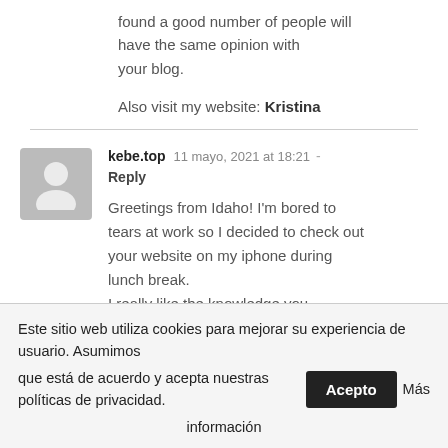found a good number of people will have the same opinion with your blog.
Also visit my website: Kristina
kebe.top  11 mayo, 2021 at 18:21 - Reply
Greetings from Idaho! I'm bored to tears at work so I decided to check out your website on my iphone during lunch break. I really like the knowledge you provide here and can't wait to take a look when I get home. I'm shocked at how quick your
Este sitio web utiliza cookies para mejorar su experiencia de usuario. Asumimos que está de acuerdo y acepta nuestras políticas de privacidad. Acepto Más información